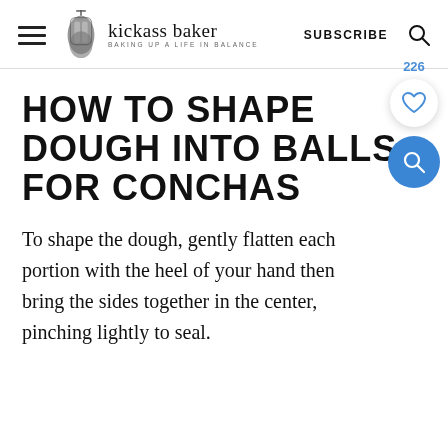kickass baker — BAKING UP A LIFE IN BALANCE — SUBSCRIBE
HOW TO SHAPE DOUGH INTO BALLS FOR CONCHAS
To shape the dough, gently flatten each portion with the heel of your hand then bring the sides together in the center, pinching lightly to seal.